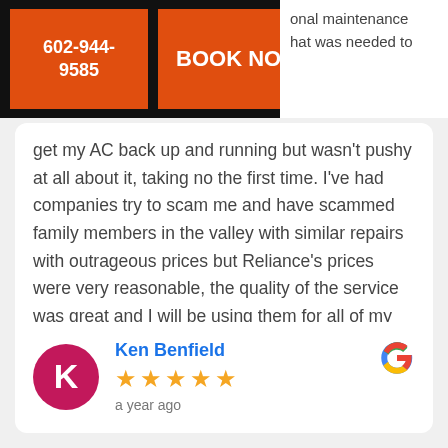[Figure (screenshot): Orange phone button reading 602-944-9585 and orange BOOK NOW button on black background bar]
onal maintenance that was needed to get my AC back up and running but wasn't pushy at all about it, taking no the first time. I've had companies try to scam me and have scammed family members in the valley with similar repairs with outrageous prices but Reliance's prices were very reasonable, the quality of the service was great and I will be using them for all of my future HVAC needs.
Ken Benfield
★★★★★
a year ago